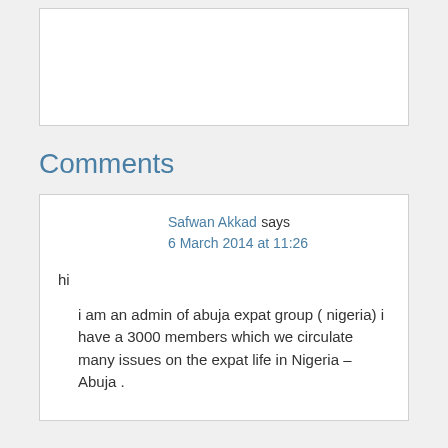[Figure (other): Advertisement or empty content box]
Comments
Safwan Akkad says
6 March 2014 at 11:26

hi

i am an admin of abuja expat group ( nigeria) i have a 3000 members which we circulate many issues on the expat life in Nigeria – Abuja .